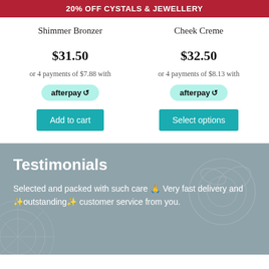20% OFF CYSTALS & JEWELLERY
Shimmer Bronzer
Cheek Creme
$31.50
$32.50
or 4 payments of $7.88 with afterpay
or 4 payments of $8.13 with afterpay
Add to cart
Select options
Testimonials
Selected and packed with such care 🙏 Very fast delivery and 🌟outstanding🌟 customer service from you.